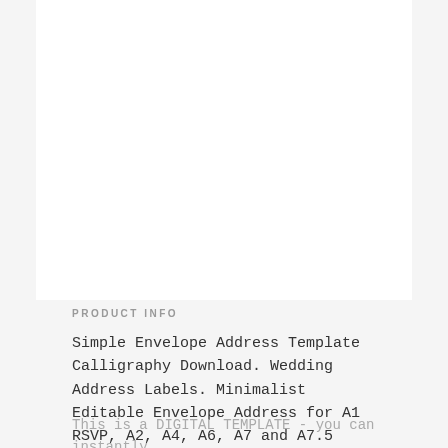PRODUCT INFO
Simple Envelope Address Template Calligraphy Download. Wedding Address Labels. Minimalist Editable Envelope Address for A1 RSVP, A2, A4, A6, A7 and A7.5 Envelopes. Use these templates to edit fonts, font colors, and background colors as you wish. NO EXPIRATION DATE!
This is a DIGITAL TEMPLATE - you can instantly